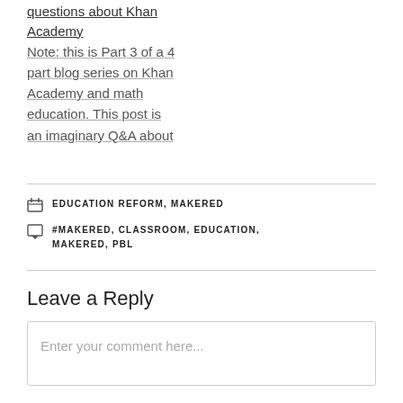questions about Khan Academy
Note: this is Part 3 of a 4 part blog series on Khan Academy and math education. This post is an imaginary Q&A about
EDUCATION REFORM, MAKERED
#MAKERED, CLASSROOM, EDUCATION, MAKERED, PBL
Leave a Reply
Enter your comment here...